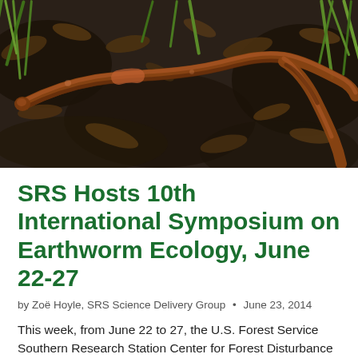[Figure (photo): Close-up photograph of an earthworm on dark soil and leaf litter, with green grass blades visible in the background.]
SRS Hosts 10th International Symposium on Earthworm Ecology, June 22-27
by Zoë Hoyle, SRS Science Delivery Group  •  June 23, 2014
This week, from June 22 to 27, the U.S. Forest Service Southern Research Station Center for Forest Disturbance Science (CFDS) is hosting the 10th International